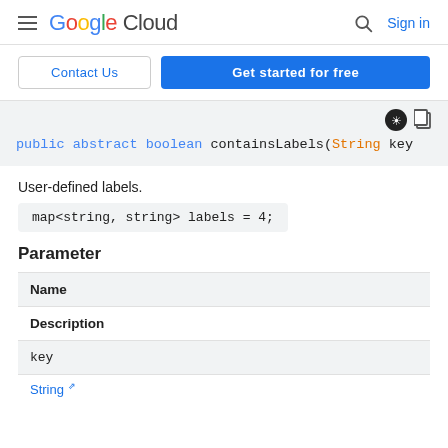Google Cloud  Sign in
Contact Us  Get started for free
[Figure (screenshot): Code block showing: public abstract boolean containsLabels(String key) with theme and copy icons]
User-defined labels.
Parameter
| Name | Description |
| --- | --- |
| key | String |